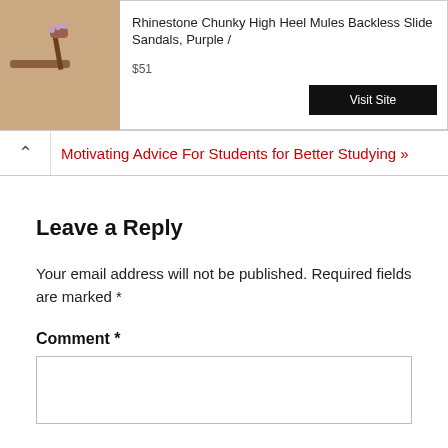[Figure (screenshot): Advertisement banner showing rhinestone high heel mules with product image on left, product title, price $51, and Visit Site button]
Motivating Advice For Students for Better Studying »
Leave a Reply
Your email address will not be published. Required fields are marked *
Comment *